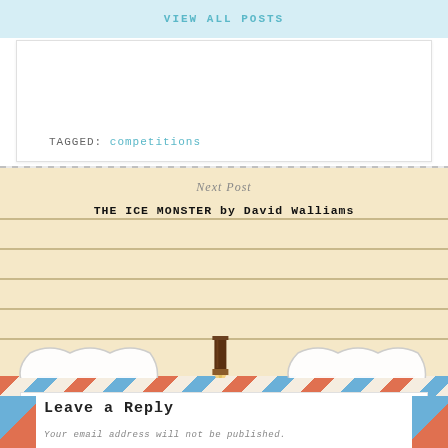VIEW ALL POSTS
TAGGED: competitions
Next Post
THE ICE MONSTER by David Walliams
[Figure (illustration): Two ghost illustrations on a cream/tan background with ink blots and a yellow horizontal bar. A pencil/pen graphic is shown at the top center.]
Leave a Reply
Your email address will not be published.